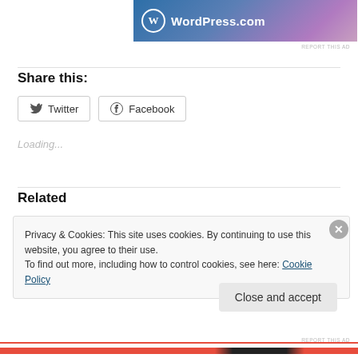[Figure (logo): WordPress.com banner ad with logo and gradient background]
Share this:
Twitter  Facebook
Loading...
Related
Privacy & Cookies: This site uses cookies. By continuing to use this website, you agree to their use.
To find out more, including how to control cookies, see here: Cookie Policy
Close and accept